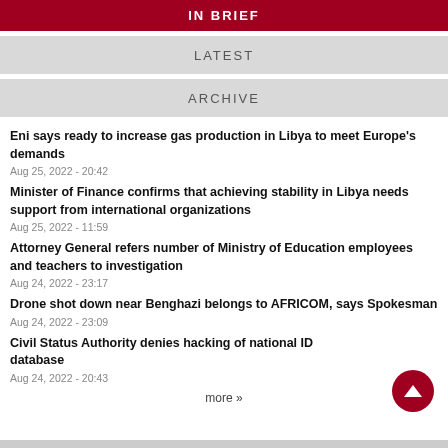IN BRIEF
LATEST
ARCHIVE
Eni says ready to increase gas production in Libya to meet Europe's demands
Aug 25, 2022 - 20:42
Minister of Finance confirms that achieving stability in Libya needs support from international organizations
Aug 25, 2022 - 11:59
Attorney General refers number of Ministry of Education employees and teachers to investigation
Aug 24, 2022 - 23:17
Drone shot down near Benghazi belongs to AFRICOM, says Spokesman
Aug 24, 2022 - 23:09
Civil Status Authority denies hacking of national ID database
Aug 24, 2022 - 20:43
more »